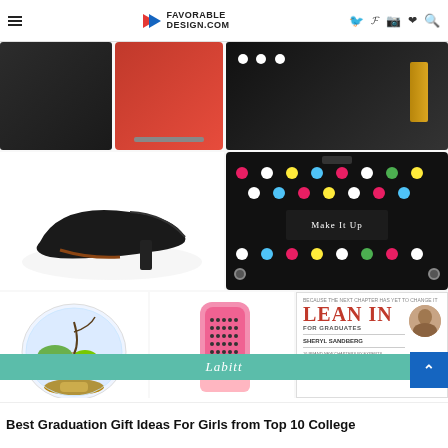FAVORABLE DESIGN.COM
[Figure (photo): Collage of graduation gift items for girls: black handbag, red wallet/card holder, polka dot umbrella/hair straightener, black high heel pumps, polka dot makeup bag labeled 'Make It Up', glass terrarium with air plants, pink hair brush/straightener, and Lean In For Graduates book by Sheryl Sandberg]
Labitt
Best Graduation Gift Ideas For Girls from Top 10 College